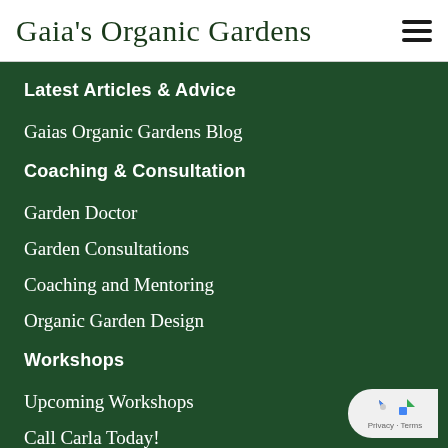Gaia's Organic Gardens
Latest Articles & Advice
Gaias Organic Gardens Blog
Coaching & Consultation
Garden Doctor
Garden Consultations
Coaching and Mentoring
Organic Garden Design
Workshops
Upcoming Workshops
Call Carla Today!